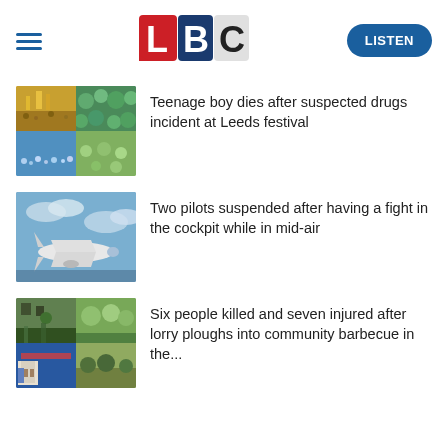LBC — LISTEN
Teenage boy dies after suspected drugs incident at Leeds festival
Two pilots suspended after having a fight in the cockpit while in mid-air
Six people killed and seven injured after lorry ploughs into community barbecue in the...